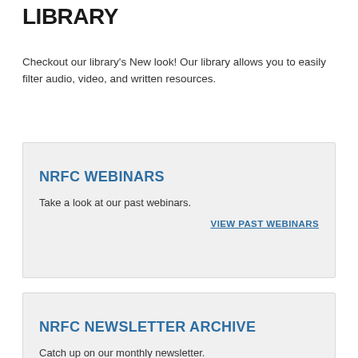LIBRARY
Checkout our library's New look! Our library allows you to easily filter audio, video, and written resources.
VIEW LIBRARY
NRFC WEBINARS
Take a look at our past webinars.
VIEW PAST WEBINARS
NRFC NEWSLETTER ARCHIVE
Catch up on our monthly newsletter.